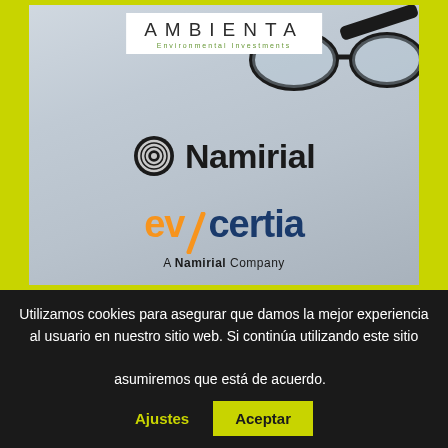[Figure (logo): Ambienta Environmental Investments logo in white box]
[Figure (photo): Photo of glasses resting on documents, with Namirial and evicertia (A Namirial Company) logos overlaid]
EVICERTIA ACQUIRED BY AMBIENTA - BAKER TILLY ADVISES EUROPEAN ENVIRONMENTAL SUSTAINABILITY
Utilizamos cookies para asegurar que damos la mejor experiencia al usuario en nuestro sitio web. Si continúa utilizando este sitio asumiremos que está de acuerdo.
Ajustes
Aceptar
Leer más